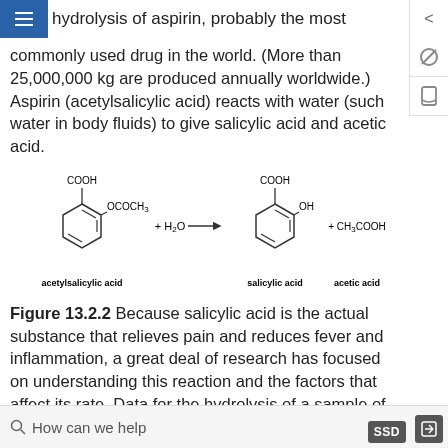hydrolysis of aspirin, probably the most commonly used drug in the world. (More than 25,000,000 kg are produced annually worldwide.) Aspirin (acetylsalicylic acid) reacts with water (such water in body fluids) to give salicylic acid and acetic acid.
[Figure (chemistry-diagram): Chemical reaction diagram showing acetylsalicylic acid + H2O → salicylic acid + CH3COOH. Both organic structures shown with benzene rings, COOH groups, and respective substituents (OCOCH3 and OH). Labels: acetylsalicylic acid, salicylic acid, acetic acid.]
Figure 13.2.2 Because salicylic acid is the actual substance that relieves pain and reduces fever and inflammation, a great deal of research has focused on understanding this reaction and the factors that affect its rate. Data for the hydrolysis of a sample of aspirin
How can we help